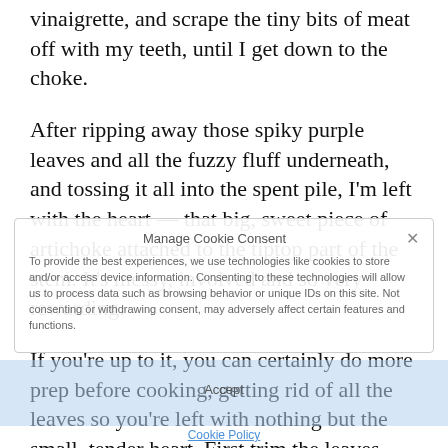vinaigrette, and scrape the tiny bits of meat off with my teeth, until I get down to the choke.
After ripping away those spiky purple leaves and all the fuzzy fluff underneath, and tossing it all into the spent pile, I'm left with the heart — that big, sweet piece of artichoke attached to the tiptop part of the stem. It's messy, involved and so very rewarding.
If you're up to it, you can certainly do more prep before cooking, getting rid of all the leaves so you're left with nothing but the small, tender heart. First trim the leaves away, scoop out the hairy choke, and then take a knife to the fibrous edges. But you
Manage Cookie Consent
To provide the best experiences, we use technologies like cookies to store and/or access device information. Consenting to these technologies will allow us to process data such as browsing behavior or unique IDs on this site. Not consenting or withdrawing consent, may adversely affect certain features and functions.
Accept
Cookie Policy